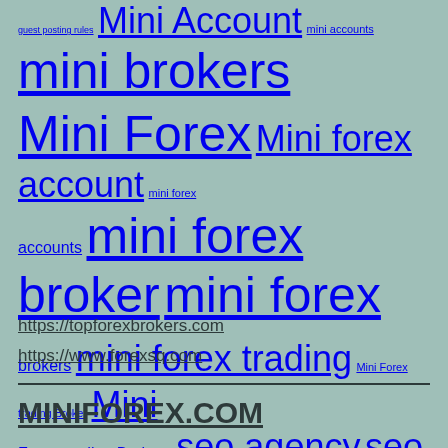guest posting rules Mini Account mini accounts mini brokers Mini Forex Mini forex account mini forex accounts mini forex broker mini forex brokers mini forex trading Mini Forex trading Broker Mini Forex trading Brokers seo agency seo company seo services What Is Mini Forex What Is Mini Forex trading
https://topforexbrokers.com
https://www.forexsq.com
MINIFOREX.COM